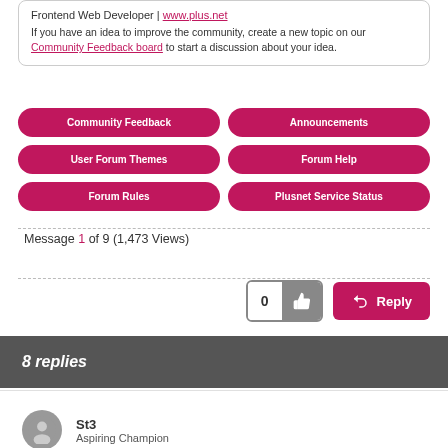Frontend Web Developer | www.plus.net
If you have an idea to improve the community, create a new topic on our Community Feedback board to start a discussion about your idea.
Community Feedback
Announcements
User Forum Themes
Forum Help
Forum Rules
Plusnet Service Status
Message 1 of 9 (1,473 Views)
0 [thumbs up] Reply
8 replies
St3
Aspiring Champion